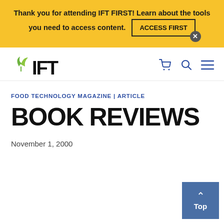Thank you for attending IFT FIRST! Learn about the tools you need to access content. ACCESS FIRST
[Figure (logo): IFT logo with green leaves above the letters IFT]
FOOD TECHNOLOGY MAGAZINE | ARTICLE
BOOK REVIEWS
November 1, 2000